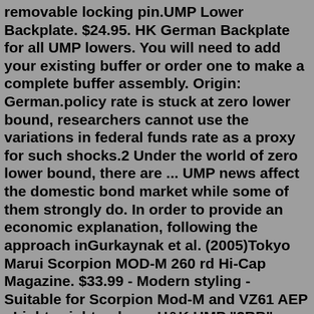removable locking pin.UMP Lower Backplate. $24.95. HK German Backplate for all UMP lowers. You will need to add your existing buffer or order one to make a complete buffer assembly. Origin: German.policy rate is stuck at zero lower bound, researchers cannot use the variations in federal funds rate as a proxy for such shocks.2 Under the world of zero lower bound, there are ... UMP news affect the domestic bond market while some of them strongly do. In order to provide an economic explanation, following the approach inGurkaynak et al. (2005)Tokyo Marui Scorpion MOD-M 260 rd Hi-Cap Magazine. $33.99 - Modern styling - Suitable for Scorpion Mod-M and VZ61 AEP - Lightweight polymerH&K UMP "2RB" Lower (242979) $329.95 Heckler & Koch Out of stock Quick view Out of stock Compare Knight's Armament HK G36 Rail (99327) $395.00 Out of stock Quick view Out of stock Compare HK MP5 Sling $59.00 Heckler & KochTokyo Marui Scorpion MOD-M 260 rd Hi-Cap